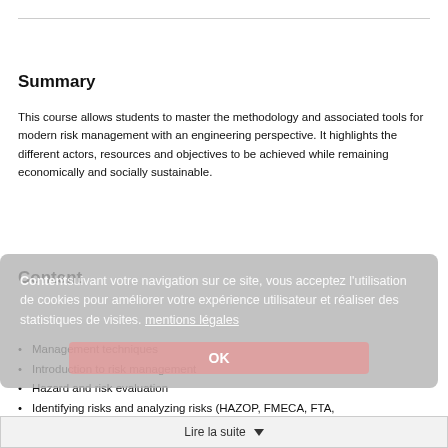Summary
This course allows students to master the methodology and associated tools for modern risk management with an engineering perspective. It highlights the different actors, resources and objectives to be achieved while remaining economically and socially sustainable.
Content
Management techniques
Introduction to risk management
Hazard and risk evaluation
Identifying risks and analyzing risks (HAZOP, FMECA, FTA,